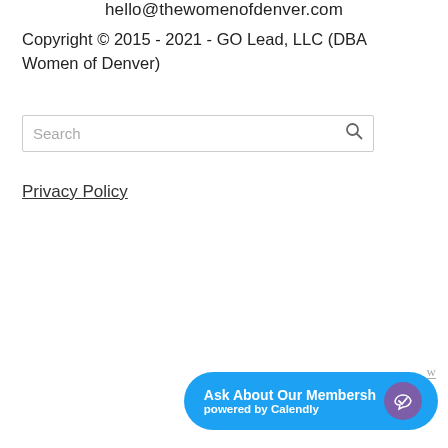hello@thewomenofdenver.com
Copyright © 2015 - 2021 - GO Lead, LLC (DBA Women of Denver)
Search
Privacy Policy
Ask About Our Membersh powered by Calendly